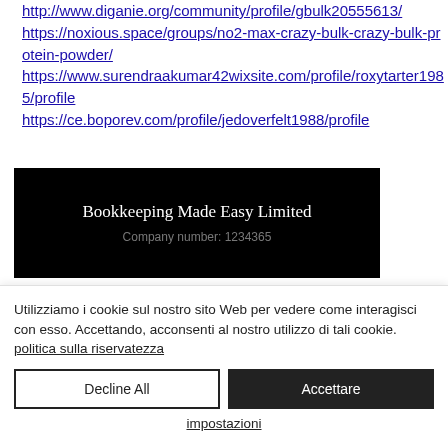http://www.diganie.org/community/profile/gbulk20555613/ https://noxious.space/groups/no2-max-crazy-bulk-crazy-bulk-protein-powder/ https://www.surendraakumar42wixsite.com/profile/roxytarter1985/profile https://ce.boporev.com/profile/jedoverfelt1988/profile
[Figure (screenshot): Black banner image with white text reading 'Bookkeeping Made Easy Limited' and partially visible subtext below]
Utilizziamo i cookie sul nostro sito Web per vedere come interagisci con esso. Accettando, acconsenti al nostro utilizzo di tali cookie. politica sulla riservatezza
Decline All
Accettare
impostazioni